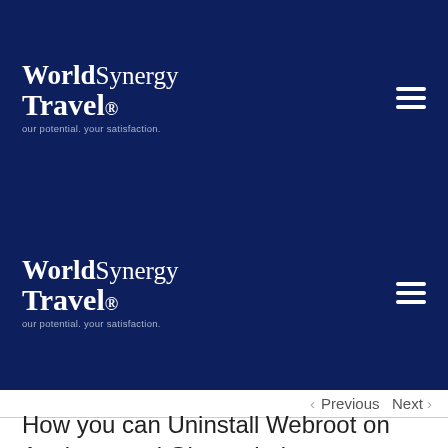[Figure (logo): World Synergy Travel logo with tagline 'our potential. your satisfaction.' on dark navy background, first instance (top header)]
[Figure (logo): World Synergy Travel logo with tagline 'our potential. your satisfaction.' on dark navy background, second instance (second header)]
< Previous   Next >
How you can Uninstall Webroot on Apple pc and Glass windows
How to do away with Webroot on Mac? Luckily, the software is pretty straightforward. To uninstall